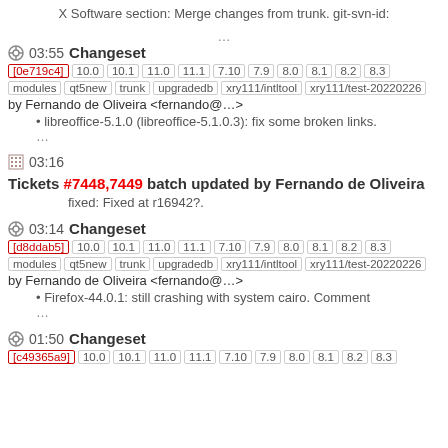X Software section: Merge changes from trunk. git-svn-id: …
03:55 Changeset [0e719c4] 10.0 10.1 11.0 11.1 7.10 7.9 8.0 8.1 8.2 8.3 modules qt5new trunk upgradedb xry111/intltool xry111/test-20220226 by Fernando de Oliveira <fernando@…>
libreoffice-5.1.0 (libreoffice-5.1.0.3): fix some broken links.
…
03:16 Tickets #7448,7449 batch updated by Fernando de Oliveira
fixed: Fixed at r16942?.
03:14 Changeset [d8ddab5] 10.0 10.1 11.0 11.1 7.10 7.9 8.0 8.1 8.2 8.3 modules qt5new trunk upgradedb xry111/intltool xry111/test-20220226 by Fernando de Oliveira <fernando@…>
Firefox-44.0.1: still crashing with system cairo. Comment
…
01:50 Changeset [c49365a9] 10.0 10.1 11.0 11.1 7.10 7.9 8.0 8.1 8.2 8.3